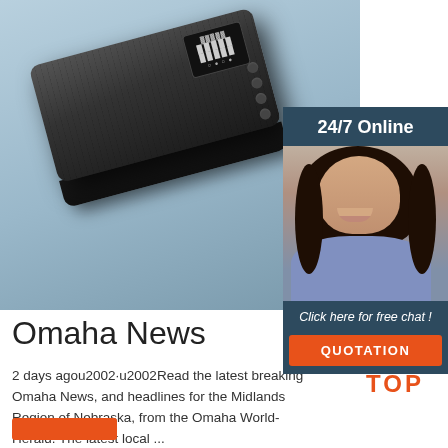[Figure (photo): Product photo of a dark gray electronic device (likely a portable power station or inverter) with a digital display screen and control buttons, photographed on a light blue background at an angle]
[Figure (infographic): Advertisement sidebar with dark blue background showing '24/7 Online', a photo of a smiling woman with headset, text 'Click here for free chat!', and orange QUOTATION button]
Omaha News
2 days agou2002·u2002Read the latest breaking Omaha News, and headlines for the Midlands Region of Nebraska, from the Omaha World-Herald. The latest local ...
[Figure (logo): Orange TOP logo with dot pattern forming an upward arrow above the word TOP in orange letters]